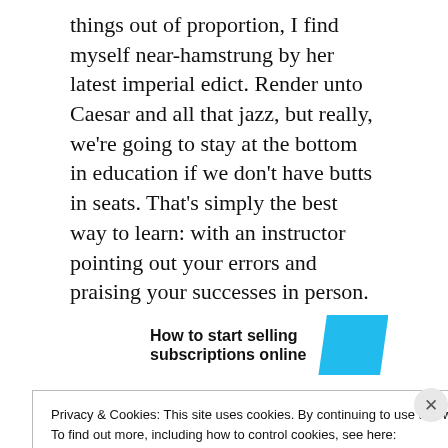things out of proportion, I find myself near-hamstrung by her latest imperial edict. Render unto Caesar and all that jazz, but really, we're going to stay at the bottom in education if we don't have butts in seats. That's simply the best way to learn: with an instructor pointing out your errors and praising your successes in person.
[Figure (other): Advertisement banner with bold text 'How to start selling subscriptions online' and a cyan parallelogram shape on the right]
Privacy & Cookies: This site uses cookies. By continuing to use this website, you agree to their use.
To find out more, including how to control cookies, see here:
Cookie Policy
Close and accept